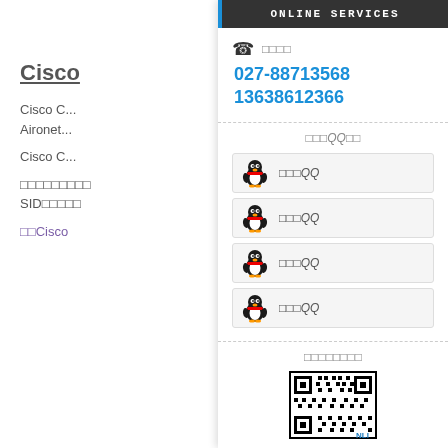Cisco
Cisco C... Aironet...
Cisco C...
□□□□□□□□□ SID□□□□□
□□Cisco
ONLINE SERVICES
□□□□ 027-88713568 13638612366
□□□QQ□□
□□□QQ
□□□QQ
□□□QQ
□□□QQ
□□□□□□□□
[Figure (other): QR code image at bottom of online services panel]